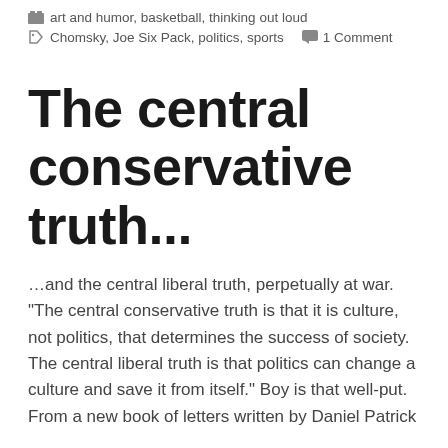art and humor, basketball, thinking out loud
Chomsky, Joe Six Pack, politics, sports   1 Comment
The central conservative truth...
…and the central liberal truth, perpetually at war. "The central conservative truth is that it is culture, not politics, that determines the success of society. The central liberal truth is that politics can change a culture and save it from itself." Boy is that well-put. From a new book of letters written by Daniel Patrick